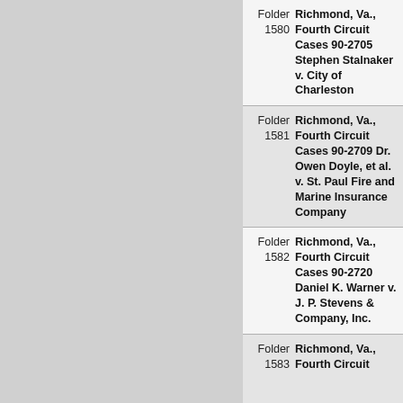Folder 1580 Richmond, Va., Fourth Circuit Cases 90-2705 Stephen Stalnaker v. City of Charleston
Folder 1581 Richmond, Va., Fourth Circuit Cases 90-2709 Dr. Owen Doyle, et al. v. St. Paul Fire and Marine Insurance Company
Folder 1582 Richmond, Va., Fourth Circuit Cases 90-2720 Daniel K. Warner v. J. P. Stevens & Company, Inc.
Folder 1583 Richmond, Va., Fourth Circuit Cases ...